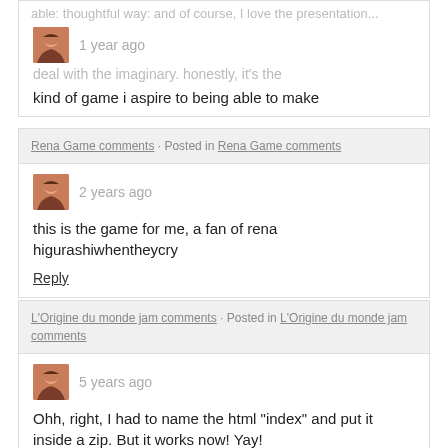able: thoughtful way: and of course, I love the presentation...
1 year ago
deal with the imaginary. honestly, it's the
kind of game i aspire to being able to make
Reply
Rena Game comments · Posted in Rena Game comments
2 years ago
this is the game for me, a fan of rena higurashiwhentheycry
Reply
L'Origine du monde jam comments · Posted in L'Origine du monde jam comments
5 years ago
Ohh, right, I had to name the html "index" and put it inside a zip. But it works now! Yay!